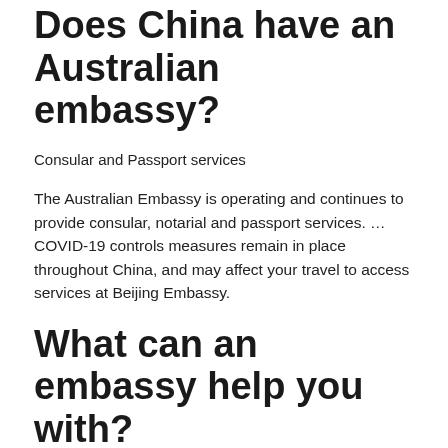Does China have an Australian embassy?
Consular and Passport services
The Australian Embassy is operating and continues to provide consular, notarial and passport services. … COVID-19 controls measures remain in place throughout China, and may affect your travel to access services at Beijing Embassy.
What can an embassy help you with?
These services include renewing passports; replacing lost or stolen passports; providing aid in obtaining medical and legal